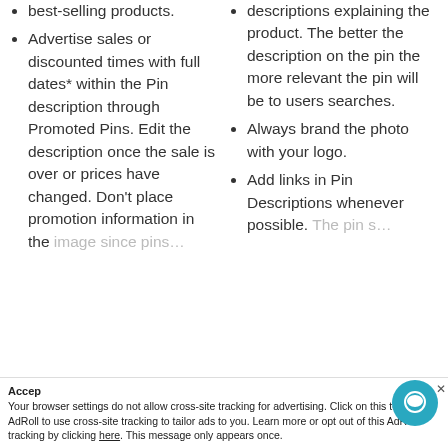best-selling products.
Advertise sales or discounted times with full dates* within the Pin description through Promoted Pins. Edit the description once the sale is over or prices have changed. Don't place promotion information in the image since pins...
descriptions explaining the product. The better the description on the pin the more relevant the pin will be to users searches.
Always brand the photo with your logo.
Add links in Pin Descriptions whenever possible. The pin s...
Your browser settings do not allow cross-site tracking for advertising. Click on this to allow AdRoll to use cross-site tracking to tailor ads to you. Learn more or opt out of this AdRoll tracking by clicking here. This message only appears once.